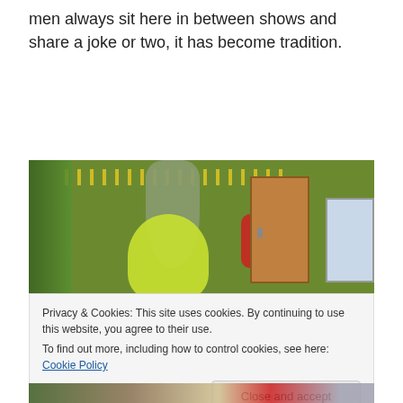men always sit here in between shows and share a joke or two, it has become tradition.
[Figure (photo): Indoor photo showing a green wall with Christmas tinsel decorations, string lights, a brown wooden door on the right, a window partially visible at the far right, and figures wearing bright green and red costumes in the foreground.]
Privacy & Cookies: This site uses cookies. By continuing to use this website, you agree to their use.
To find out more, including how to control cookies, see here: Cookie Policy